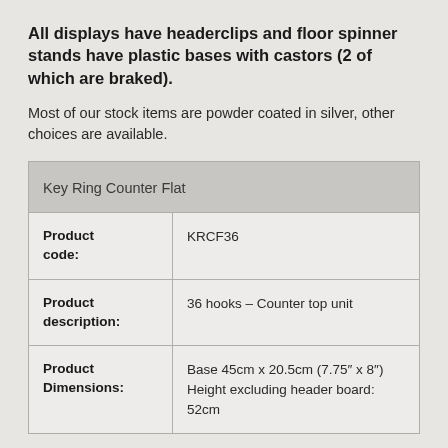All displays have headerclips and floor spinner stands have plastic bases with castors (2 of which are braked).
Most of our stock items are powder coated in silver, other choices are available.
| Key Ring Counter Flat |
| --- |
| Product code: | KRCF36 |
| Product description: | 36 hooks – Counter top unit |
| Product Dimensions: | Base 45cm x 20.5cm (7.75″ x 8″)
Height excluding header board: 52cm |